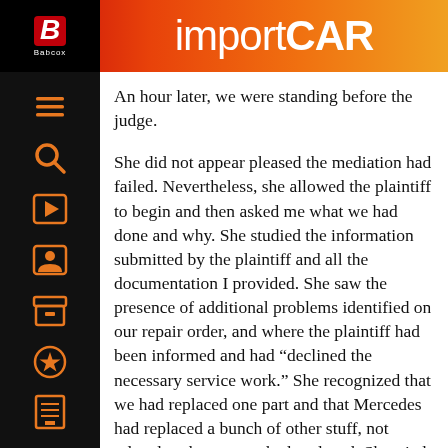importCAR
An hour later, we were standing before the judge.
She did not appear pleased the mediation had failed. Nevertheless, she allowed the plaintiff to begin and then asked me what we had done and why. She studied the information submitted by the plaintiff and all the documentation I provided. She saw the presence of additional problems identified on our repair order, and where the plaintiff had been informed and had “declined the necessary service work.” She recognized that we had replaced one part and that Mercedes had replaced a bunch of other stuff, not related to the part we had replaced. She tried diligently to help the guy in the Mercedes understand that not only was the work at the